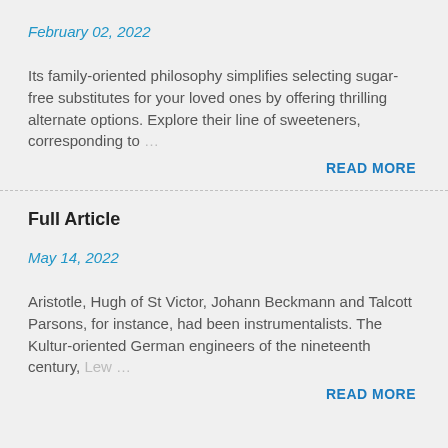February 02, 2022
Its family-oriented philosophy simplifies selecting sugar-free substitutes for your loved ones by offering thrilling alternate options. Explore their line of sweeteners, corresponding to …
READ MORE
Full Article
May 14, 2022
Aristotle, Hugh of St Victor, Johann Beckmann and Talcott Parsons, for instance, had been instrumentalists. The Kultur-oriented German engineers of the nineteenth century, Lew …
READ MORE